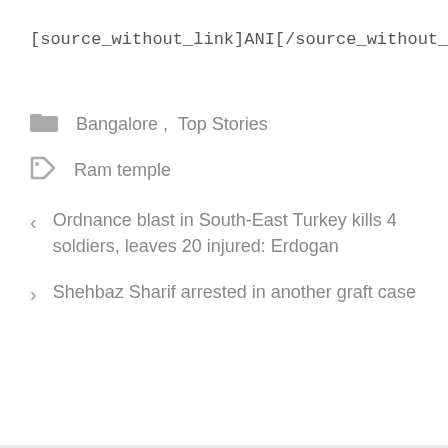[source_without_link]ANI[/source_without_link]
Bangalore ,  Top Stories
Ram temple
Ordnance blast in South-East Turkey kills 4 soldiers, leaves 20 injured: Erdogan
Shehbaz Sharif arrested in another graft case